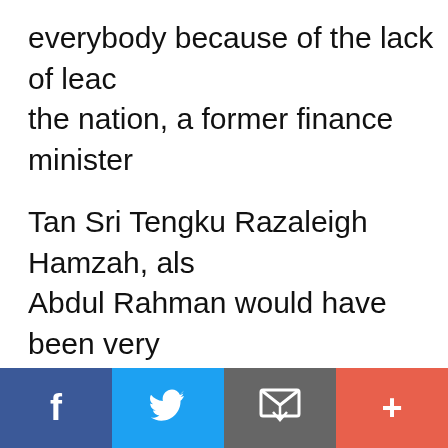everybody because of the lack of leadership in the nation, a former finance minister
Tan Sri Tengku Razaleigh Hamzah, also said Abdul Rahman would have been very upset doing as this was counter to everything
“He would curse everybody. (What is advocated. He wanted peace.
“He was a man of peace and he nurtu
[Figure (infographic): Social sharing bar with four buttons: Facebook (blue), Twitter (light blue), Email (grey), and More/Plus (red-orange)]